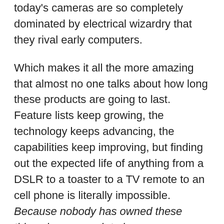today's cameras are so completely dominated by electrical wizardry that they rival early computers.
Which makes it all the more amazing that almost no one talks about how long these products are going to last. Feature lists keep growing, the technology keeps advancing, the capabilities keep improving, but finding out the expected life of anything from a DSLR to a toaster to a TV remote to an cell phone is literally impossible. Because nobody has owned these things long enough to know.
Which (yes, I know that's my third-in-a-row 'which' at the beginning of a paragraph) brings me to the decidedly low-tech question of print-on-demand books, and the equally unanswerable question of how long such things will last. I really don't care how long e-readers last right now, because I think